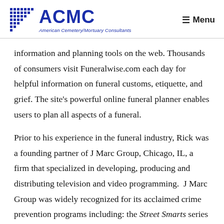ACMC — American Cemetery/Mortuary Consultants | Menu
information and planning tools on the web. Thousands of consumers visit Funeralwise.com each day for helpful information on funeral customs, etiquette, and grief. The site's powerful online funeral planner enables users to plan all aspects of a funeral.
Prior to his experience in the funeral industry, Rick was a founding partner of J Marc Group, Chicago, IL, a firm that specialized in developing, producing and distributing television and video programming. J Marc Group was widely recognized for its acclaimed crime prevention programs including: the Street Smarts series